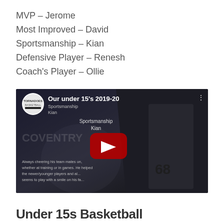MVP – Jerome
Most Improved – David
Sportsmanship – Kian
Defensive Player – Renesh
Coach's Player – Ollie
[Figure (screenshot): YouTube video thumbnail for 'Our under 15's 2019-20' showing a young basketball player wearing number 68 jersey, with Sportsmanship Kian award overlay text and a YouTube play button]
Uandar 15e Dachatearbel